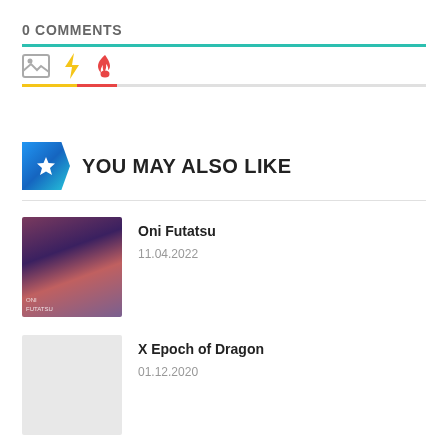0 COMMENTS
[Figure (other): Comment section toolbar with image icon, lightning bolt icon (yellow), and flame icon (red-orange), with colored bar below]
YOU MAY ALSO LIKE
[Figure (photo): Thumbnail image for Oni Futatsu manga]
Oni Futatsu
11.04.2022
[Figure (photo): Thumbnail image for X Epoch of Dragon (grey placeholder)]
X Epoch of Dragon
01.12.2020